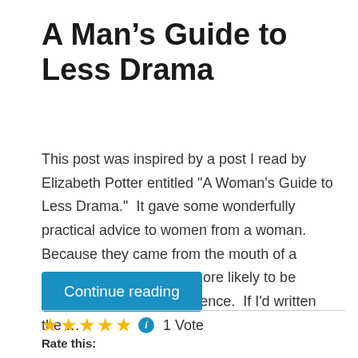A Man’s Guide to Less Drama
This post was inspired by a post I read by Elizabeth Potter entitled "A Woman's Guide to Less Drama."  It gave some wonderfully practical advice to women from a woman.  Because they came from the mouth of a woman, they are much more likely to be heard by the female audience.  If I'd written the …
Continue reading
★★★★★ 1 Vote
Rate this: